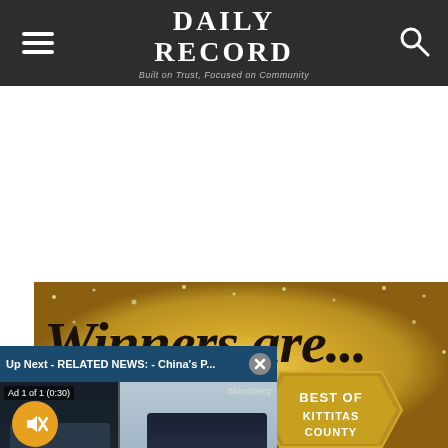Daily Record — Built on Trust, Focused on Community
[Figure (screenshot): Video player overlay showing 'Up Next - RELATED NEWS: - China's P...' with a Bloomberg TV ad showing two anchors at a desk, lower third reads 'CHINA PROPERTY LOANS SLUMP'. Ad label reads 'Ad 1 of 1 (0:30)'. Mute button visible (yellow circle with speaker icon crossed out). Close button (X) in top right corner.]
[Figure (photo): Gold glitter background with script text 'Winners are...' in black cursive. Below is a hexagonal badge reading 'BEST OF KITTITAS COUNTY' in white bold text on gold background.]